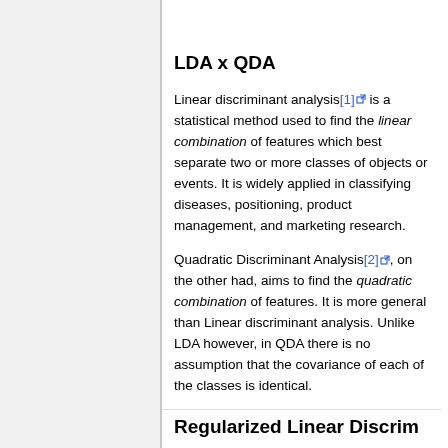LDA x QDA
Linear discriminant analysis[1] is a statistical method used to find the linear combination of features which best separate two or more classes of objects or events. It is widely applied in classifying diseases, positioning, product management, and marketing research.
Quadratic Discriminant Analysis[2], on the other had, aims to find the quadratic combination of features. It is more general than Linear discriminant analysis. Unlike LDA however, in QDA there is no assumption that the covariance of each of the classes is identical.
Regularized Linear Discriminant QDA